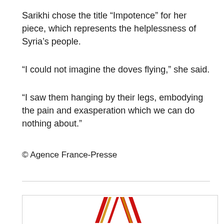Sarikhi chose the title “Impotence” for her piece, which represents the helplessness of Syria’s people.
“I could not imagine the doves flying,” she said.
“I saw them hanging by their legs, embodying the pain and exasperation which we can do nothing about.”
© Agence France-Presse
[Figure (logo): Partial logo with red diagonal stripe shapes forming a W-like mark on white background]